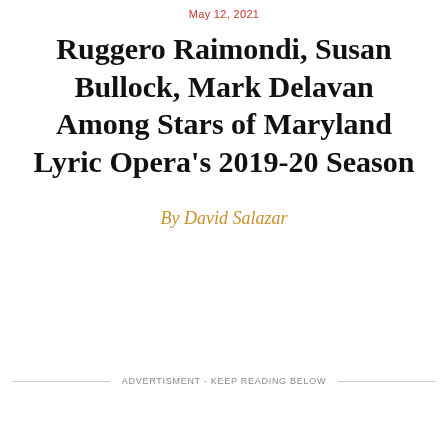May 12, 2021
Ruggero Raimondi, Susan Bullock, Mark Delavan Among Stars of Maryland Lyric Opera's 2019-20 Season
By David Salazar
ADVERTISMENT - KEEP READING BELOW